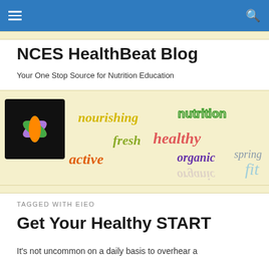NCES HealthBeat Blog navigation bar
[Figure (illustration): NCES HealthBeat Blog banner with colorful word cloud including: nourishing, nutrition, healthy, fresh, organic, active, spring, fit, alongside a black square with a colorful flower/leaf logo]
NCES HealthBeat Blog
Your One Stop Source for Nutrition Education
TAGGED WITH EIEO
Get Your Healthy START
It's not uncommon on a daily basis to overhear a